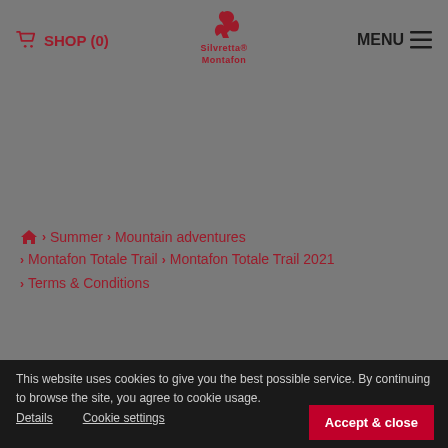SHOP (0) | [Silvretta Montafon logo] | MENU
Republic of Austria s xclusively. The competent court for Schruns shall be exclusively competent in the case of all legal disputes.
(June 2020)
Home > Summer > Mountain adventures > Montafon Totale Trail > Montafon Totale Trail 2021 > Terms & Conditions
This website uses cookies to give you the best possible service. By continuing to browse the site, you agree to cookie usage.  Details  Cookie settings  Accept & close